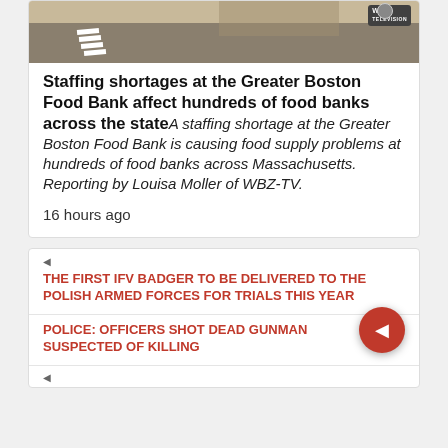[Figure (photo): Street intersection with crosswalk, tan/beige pavement, WBZ TV logo badge in top right corner]
Staffing shortages at the Greater Boston Food Bank affect hundreds of food banks across the state
A staffing shortage at the Greater Boston Food Bank is causing food supply problems at hundreds of food banks across Massachusetts. Reporting by Louisa Moller of WBZ-TV.
16 hours ago
THE FIRST IFV BADGER TO BE DELIVERED TO THE POLISH ARMED FORCES FOR TRIALS THIS YEAR
POLICE: OFFICERS SHOT DEAD GUNMAN SUSPECTED OF KILLING